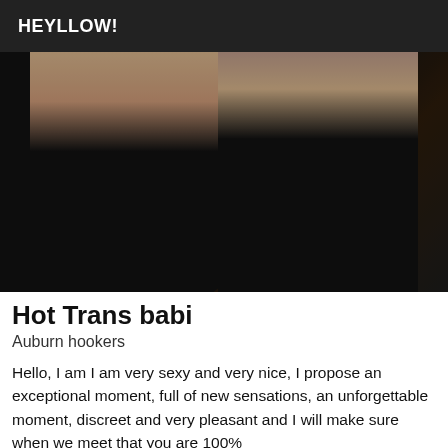HEYLLOW!
[Figure (photo): Photo showing a person wearing black lingerie and black stockings, partial body view from torso down, with a white suitcase visible in the background]
Hot Trans babi
Auburn hookers
Hello, I am I am very sexy and very nice, I propose an exceptional moment, full of new sensations, an unforgettable moment, discreet and very pleasant and I will make sure when we meet that you are 100%